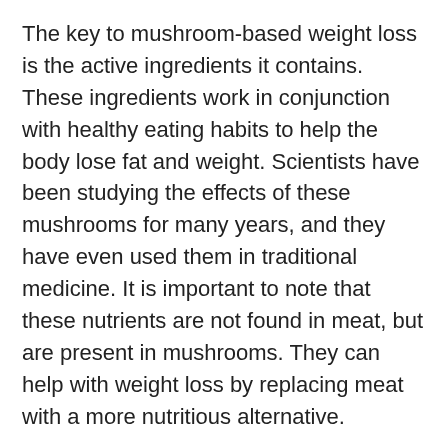The key to mushroom-based weight loss is the active ingredients it contains. These ingredients work in conjunction with healthy eating habits to help the body lose fat and weight. Scientists have been studying the effects of these mushrooms for many years, and they have even used them in traditional medicine. It is important to note that these nutrients are not found in meat, but are present in mushrooms. They can help with weight loss by replacing meat with a more nutritious alternative.
Researchers also noted that consuming mushrooms helps reduce hunger. Many dieters struggle to feel full after eating. Without satisfaction, they tend to make poor decisions. They may also fill their stomach with unhealthy foods. The addition of mushrooms to the diet can help the dieter feel full and satisfied throughout the day. The benefits of this weight loss diet are significant